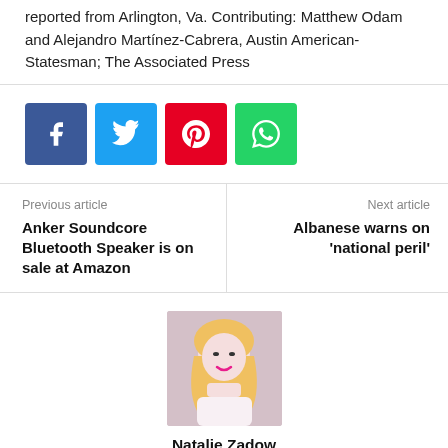reported from Arlington, Va. Contributing: Matthew Odam and Alejandro Martínez-Cabrera, Austin American-Statesman; The Associated Press
[Figure (other): Social sharing buttons: Facebook (blue), Twitter (light blue), Pinterest (red), WhatsApp (green)]
Previous article
Anker Soundcore Bluetooth Speaker is on sale at Amazon
Next article
Albanese warns on 'national peril'
[Figure (photo): Photo of Natalie Zadow, a blonde woman with pink lipstick]
Natalie Zadow